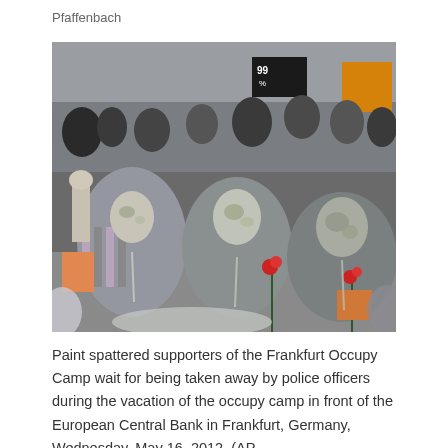Pfaffenbach
[Figure (photo): Paint-spattered supporters of the Frankfurt Occupy Camp sitting on the ground surrounded by a crowd, some holding roses, covered in paint/foam during a police eviction in front of the European Central Bank in Frankfurt, Germany, Wednesday, May 16, 2012.]
Paint spattered supporters of the Frankfurt Occupy Camp wait for being taken away by police officers during the vacation of the occupy camp in front of the European Central Bank in Frankfurt, Germany, Wednesday, May 16, 2012. (AP